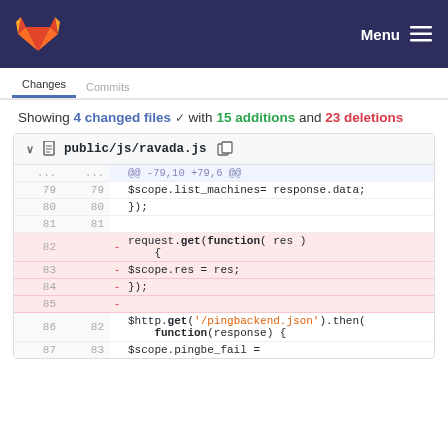GitLab navigation bar with logo and Menu button
Showing 4 changed files with 15 additions and 23 deletions
| old | new | sym | code |
| --- | --- | --- | --- |
| ... | ... |  | @@ -79,10 +79,6 @@ |
| 79 | 79 |  | $scope.list_machines= response.data; |
| 80 | 80 |  |           }); |
| 81 | 81 |  |  |
| 82 |  | - |           request.get(function( res )
    { |
| 83 |  | - |               $scope.res = res; |
| 84 |  | - |           }); |
| 85 |  | - |  |
| 86 | 82 |  | $http.get('/pingbackend.json').then(
    function(response) { |
| 87 | 83 |  |           $scope.pingbe_fail = |